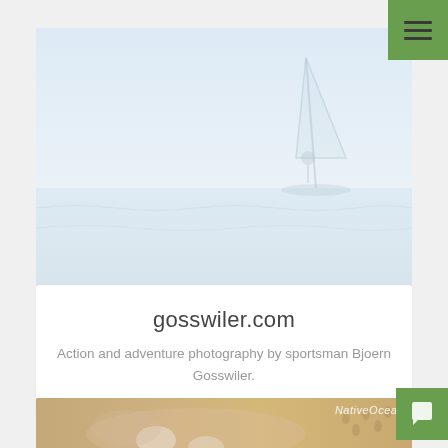[Figure (photo): Hero image showing a faint windsurfer silhouette against a light blue-white sky and sea background]
gosswiler.com
Action and adventure photography by sportsman Bjoern Gosswiler.
[Figure (photo): Beach photo showing a person in a white bikini lying on sandy beach with footprints, with NativeOcean watermark in top right corner]